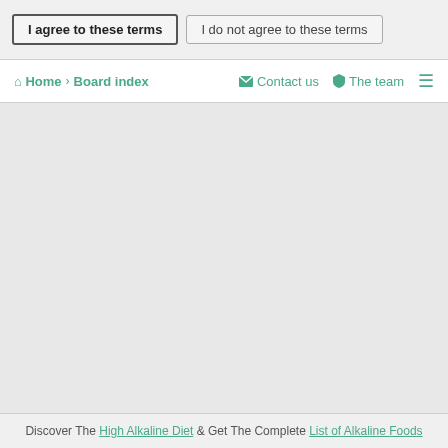I agree to these terms | I do not agree to these terms
Home › Board index   Contact us   The team
[Figure (screenshot): Empty gray content area of a forum page]
Discover The High Alkaline Diet & Get The Complete List of Alkaline Foods